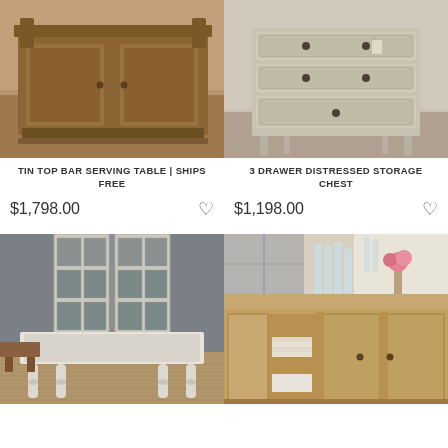[Figure (photo): Tin Top Bar Serving Table — a large wooden bar cabinet with carved corbels and two paneled doors, in warm brown tones]
TIN TOP BAR SERVING TABLE | SHIPS FREE
$1,798.00
[Figure (photo): 3 Drawer Distressed Storage Chest — a grey/white distressed chest of drawers with round knobs and tapered legs]
3 DRAWER DISTRESSED STORAGE CHEST
$1,198.00
[Figure (photo): A white distressed farm dining table with turned legs, set in front of French doors in a grey room]
[Figure (photo): A large natural wood hutch/sideboard with open cabinet doors showing stacked plates and glasses]